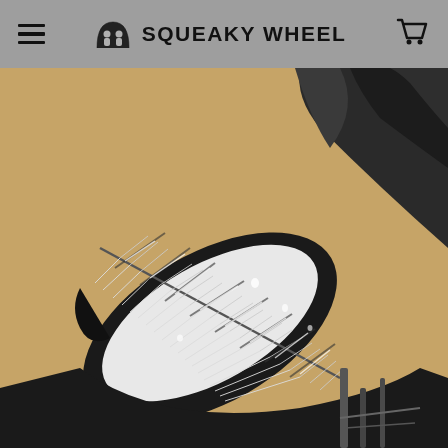Squeaky Wheel — navigation bar with hamburger menu, logo, and cart icon
[Figure (photo): Close-up photo of a bicycle fender or mudguard decorated with a feather design in black and white, with water droplets on the surface. The background is a warm tan/beige color, and the bike frame and tire are partially visible.]